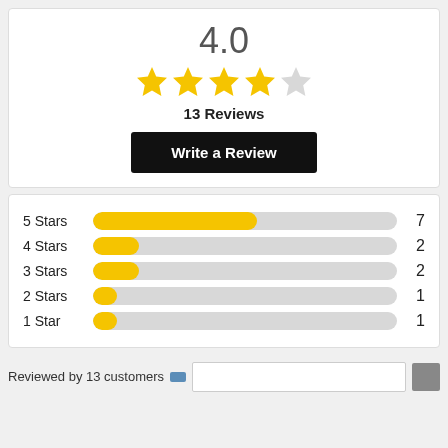4.0
[Figure (other): 4 out of 5 stars rating display]
13 Reviews
Write a Review
[Figure (bar-chart): Star rating distribution]
Reviewed by 13 customers